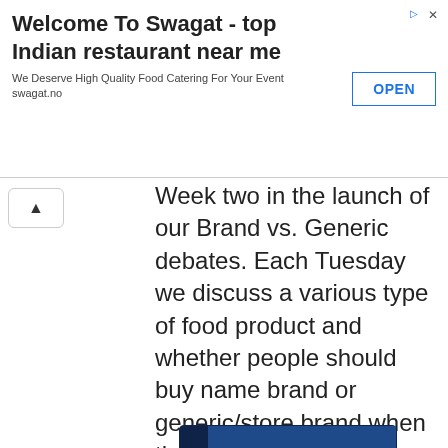Welcome To Swagat - top Indian restaurant near me
We Deserve High Quality Food Catering For Your Event
swagat.no
Week two in the launch of our Brand vs. Generic debates. Each Tuesday we discuss a various type of food product and whether people should buy name brand or generic/store brand when they shop for that food. Today? Pasta.
[Figure (photo): Box of Barilla Penne Rigate pasta with blue packaging and pasta pieces visible]